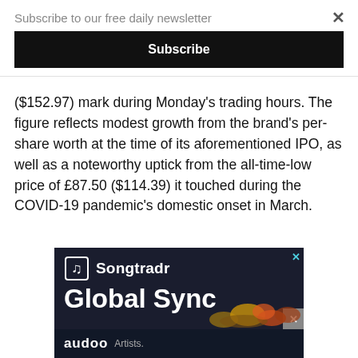Subscribe to our free daily newsletter
Subscribe
($152.97) mark during Monday's trading hours. The figure reflects modest growth from the brand's per-share worth at the time of its aforementioned IPO, as well as a noteworthy uptick from the all-time-low price of £87.50 ($114.39) it touched during the COVID-19 pandemic's domestic onset in March.
[Figure (illustration): Songtradr Global Sync advertisement banner with dark background showing Songtradr logo, 'Global Sync' text, audoo logo and 'Artists.' text with colorful waveform graphic, with close buttons.]